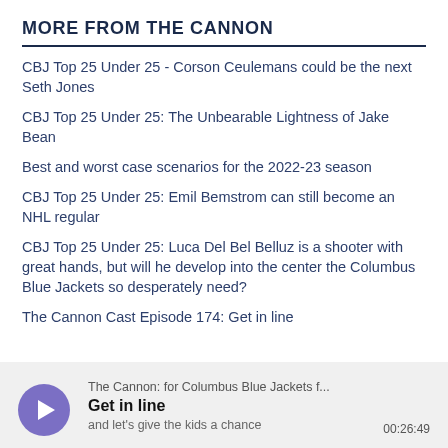MORE FROM THE CANNON
CBJ Top 25 Under 25 - Corson Ceulemans could be the next Seth Jones
CBJ Top 25 Under 25: The Unbearable Lightness of Jake Bean
Best and worst case scenarios for the 2022-23 season
CBJ Top 25 Under 25: Emil Bemstrom can still become an NHL regular
CBJ Top 25 Under 25: Luca Del Bel Belluz is a shooter with great hands, but will he develop into the center the Columbus Blue Jackets so desperately need?
The Cannon Cast Episode 174: Get in line
[Figure (other): Podcast player widget showing: source 'The Cannon: for Columbus Blue Jackets f...', title 'Get in line', subtitle 'and let’s give the kids a chance', duration '00:26:49', with a purple circular play button]